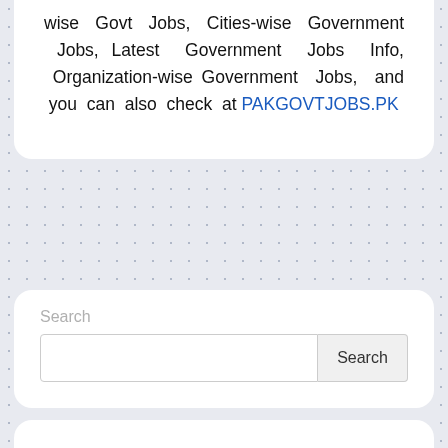wise Govt Jobs, Cities-wise Government Jobs, Latest Government Jobs Info, Organization-wise Government Jobs, and you can also check at PAKGOVTJOBS.PK
[Figure (screenshot): Search widget with a text input field and a Search button]